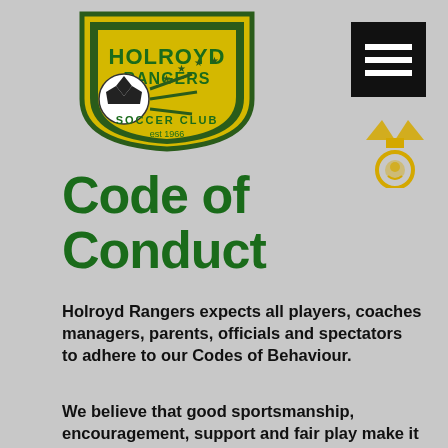[Figure (logo): Holroyd Rangers Soccer Club shield logo with soccer ball and stars, yellow and green colors]
[Figure (illustration): Black square menu button with three white horizontal bars (hamburger menu icon)]
[Figure (illustration): Yellow medal/award icon]
Code of Conduct
Holroyd Rangers expects all players, coaches managers, parents, officials and spectators to adhere to our Codes of Behaviour.
We believe that good sportsmanship, encouragement, support and fair play make it safer and more enjoyable for all of us to